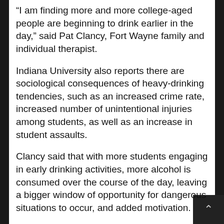“I am finding more and more college-aged people are beginning to drink earlier in the day,” said Pat Clancy, Fort Wayne family and individual therapist.
Indiana University also reports there are sociological consequences of heavy-drinking tendencies, such as an increased crime rate, increased number of unintentional injuries among students, as well as an increase in student assaults.
Clancy said that with more students engaging in early drinking activities, more alcohol is consumed over the course of the day, leaving a bigger window of opportunity for dangerous situations to occur, and added motivation.
Breeanna Fusselman, a junior in communication from Ossian, said drinking on college campuses is